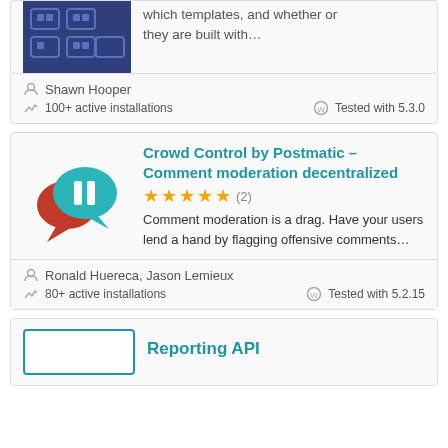[Figure (screenshot): Partial top card showing a dark blue plugin thumbnail image and truncated text 'which templates, and whether or they are built with...']
which templates, and whether or they are built with…
Shawn Hooper
100+ active installations
Tested with 5.3.0
Crowd Control by Postmatic – Comment moderation decentralized
★★★★★ (2)
Comment moderation is a drag. Have your users lend a hand by flagging offensive comments…
Ronald Huereca, Jason Lemieux
80+ active installations
Tested with 5.2.15
Reporting API